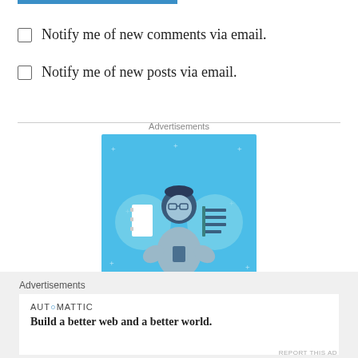Notify me of new comments via email.
Notify me of new posts via email.
Advertisements
[Figure (illustration): Day One app advertisement with blue background showing a figure with notebooks and a list, text reading DAY ONE]
Advertisements
[Figure (logo): Automattic logo with text: Build a better web and a better world.]